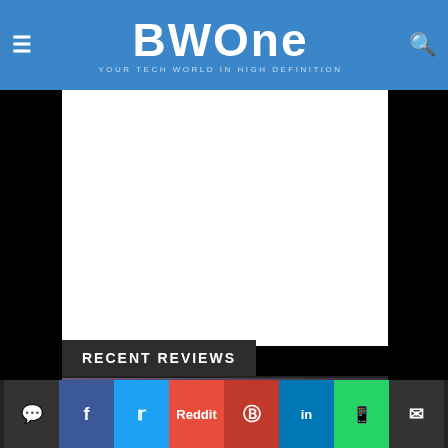BWOne — YOUR TECH WORLD IN HIGH DEFINITION
RECENT REVIEWS
[Figure (photo): QNAP NAS device photo with dark background, showing a black rectangular NAS unit with colorful LED lighting visible in background]
► QNAP NAS REVIEW TVS-672N – HOW I USE IT AS A YOUTUBE CONTENT CREATOR
< comment share facebook twitter reddit pinterest linkedin whatsapp mail >